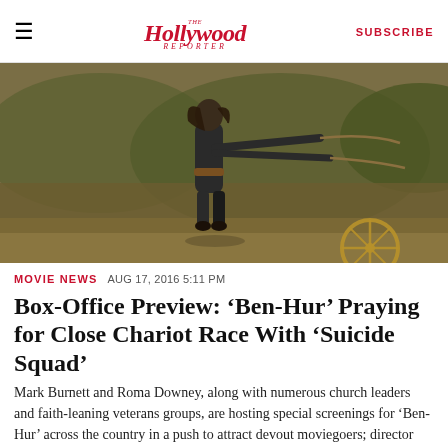The Hollywood Reporter — SUBSCRIBE
[Figure (photo): Action scene showing a person in dark clothing riding a chariot, pulling reins, with an outdoor arid landscape in background.]
MOVIE NEWS  AUG 17, 2016 5:11 PM
Box-Office Preview: ‘Ben-Hur’ Praying for Close Chariot Race With ‘Suicide Squad’
Mark Burnett and Roma Downey, along with numerous church leaders and faith-leaning veterans groups, are hosting special screenings for ‘Ben-Hur’ across the country in a push to attract devout moviegoers; director Todd Phillips’ ‘War Dogs’ and Focus Features’ animated